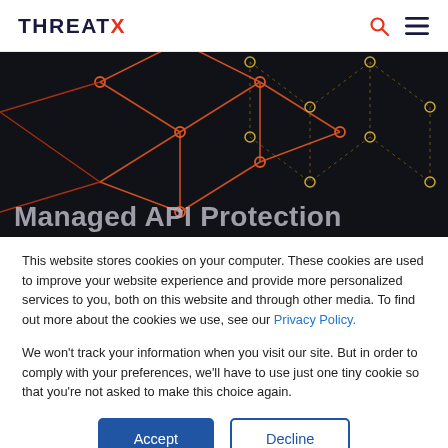THREATX
[Figure (illustration): Dark geometric network/mesh pattern with orange and yellow connected nodes and lines forming diamond/hexagonal shapes on a dark background. Partially covered by a cookie consent overlay.]
Managed API Protection
This website stores cookies on your computer. These cookies are used to improve your website experience and provide more personalized services to you, both on this website and through other media. To find out more about the cookies we use, see our Privacy Policy.
We won't track your information when you visit our site. But in order to comply with your preferences, we'll have to use just one tiny cookie so that you're not asked to make this choice again.
Accept
Decline